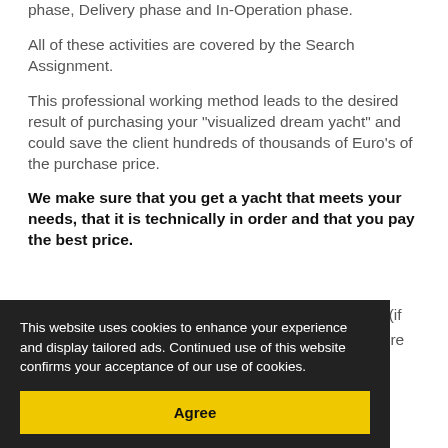phase, Delivery phase and In-Operation phase.
All of these activities are covered by the Search Assignment.
This professional working method leads to the desired result of purchasing your "visualized dream yacht" and could save the client hundreds of thousands of Euro's of the purchase price.
We make sure that you get a yacht that meets your needs, that it is technically in order and that you pay the best price.
...is that (if ...isclosure
This website uses cookies to enhance your experience and display tailored ads. Continued use of this website confirms your acceptance of our use of cookies.